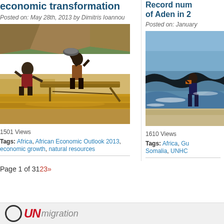economic transformation
Posted on: May 28th, 2013 by Dimitris Ioannou
[Figure (photo): Workers panning for minerals at a muddy waterside mining site, with a wooden sluice table]
1501 Views
Tags: Africa, African Economic Outlook 2013, economic growth, natural resources
Record num of Aden in 2
Posted on: January
[Figure (photo): Person wading through ocean waves on a beach]
1610 Views
Tags: Africa, Gu Somalia, UNHC
Page 1 of 3123»